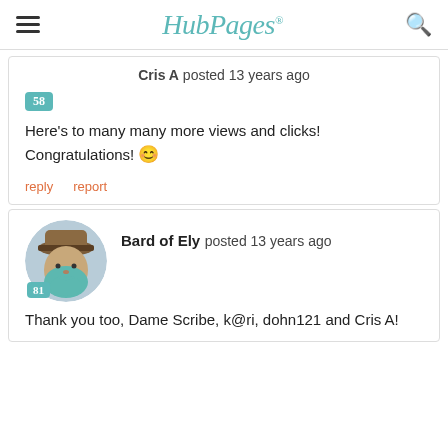HubPages
Cris A posted 13 years ago
58
Here's to many many more views and clicks! Congratulations! 😊
reply   report
Bard of Ely posted 13 years ago
81
Thank you too, Dame Scribe, k@ri, dohn121 and Cris A!